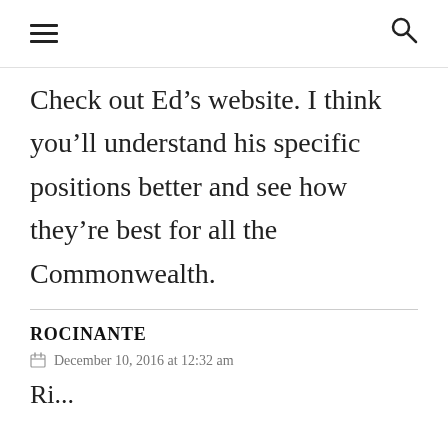☰  🔍
Check out Ed's website. I think you'll understand his specific positions better and see how they're best for all the Commonwealth.
ROCINANTE
December 10, 2016 at 12:32 am
Ri...